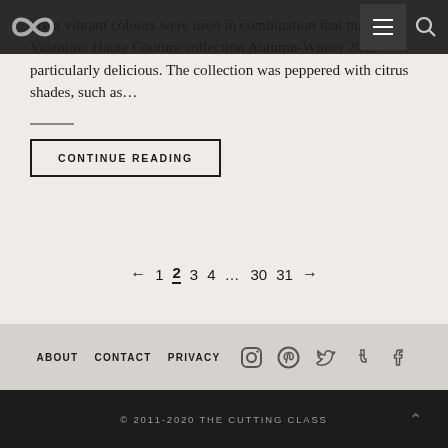great vibrant colours were used in combination that made the Valentino Haute Couture collection Autumn-Winter 2019 particularly delicious. The collection was peppered with citrus shades, such as…
CONTINUE READING
← 1 2 3 4 … 30 31 →
ABOUT  CONTACT  PRIVACY
© 2011-2020 THE CUTTING CLASS